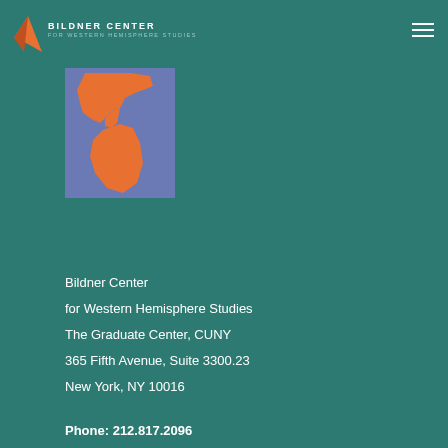[Figure (logo): Bildner Center for Western Hemisphere Studies logo with bird icon and text]
[Figure (illustration): Stylized map of the Western Hemisphere showing North and South America in orange against a purple-blue background]
Bildner Center
for Western Hemisphere Studies
The Graduate Center, CUNY
365 Fifth Avenue, Suite 3300.23
New York, NY 10016
Phone: 212.817.2096